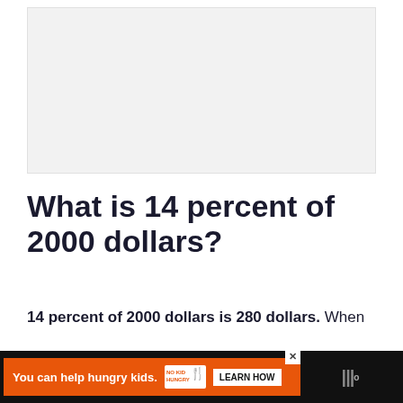[Figure (other): Gray/white advertisement placeholder box at the top of the page]
What is 14 percent of 2000 dollars?
14 percent of 2000 dollars is 280 dollars. When solving this equation, we multiply 0.14 by 2000, the 0.14 standing for 14% and 2000 representing 2000 dollars.
[Figure (other): No Kid Hungry advertisement banner at the bottom: 'You can help hungry kids.' with Learn How button]